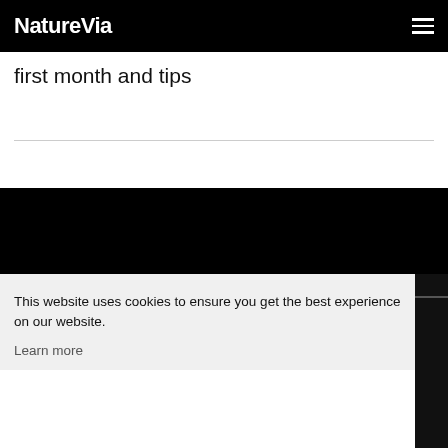NatureVia
first month and tips
This website uses cookies to ensure you get the best experience on our website. Learn more